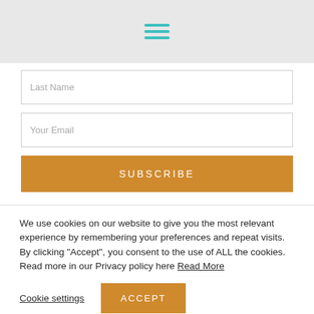[Figure (other): Hamburger menu icon with three teal horizontal lines in a gray header bar]
Last Name
Your Email
SUBSCRIBE
We use cookies on our website to give you the most relevant experience by remembering your preferences and repeat visits. By clicking "Accept", you consent to the use of ALL the cookies. Read more in our Privacy policy here Read More
Cookie settings
ACCEPT